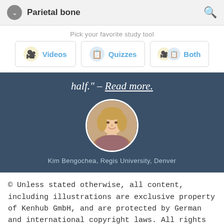Parietal bone
Pick your favorite study tool
[Figure (screenshot): Three study tool buttons: Videos, Quizzes, Both]
[Figure (photo): Dark blue banner with italic text 'half.' – Read more. with a circular profile photo of Kim Bengochea and caption: Kim Bengochea, Regis University, Denver]
© Unless stated otherwise, all content, including illustrations are exclusive property of Kenhub GmbH, and are protected by German and international copyright laws. All rights reserved.